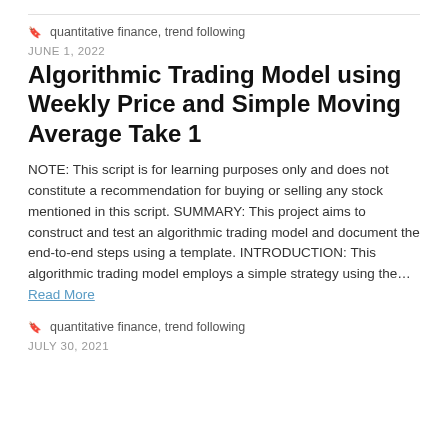quantitative finance, trend following
JUNE 1, 2022
Algorithmic Trading Model using Weekly Price and Simple Moving Average Take 1
NOTE: This script is for learning purposes only and does not constitute a recommendation for buying or selling any stock mentioned in this script. SUMMARY: This project aims to construct and test an algorithmic trading model and document the end-to-end steps using a template. INTRODUCTION: This algorithmic trading model employs a simple strategy using the… Read More
quantitative finance, trend following
JULY 30, 2021